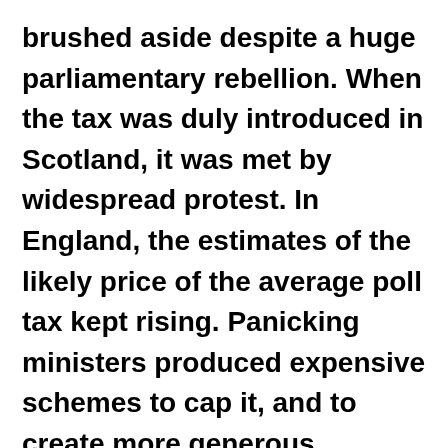brushed aside despite a huge parliamentary rebellion. When the tax was duly introduced in Scotland, it was met by widespread protest. In England, the estimates of the likely price of the average poll tax kept rising. Panicking ministers produced expensive schemes to cap it, and to create more generous exemptions, undermining the whole point of the system. So when the tax was b